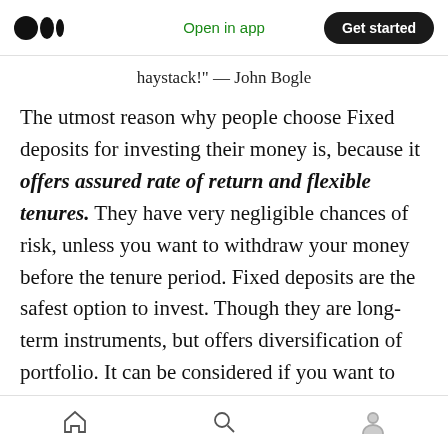Open in app  Get started
haystack!" — John Bogle
The utmost reason why people choose Fixed deposits for investing their money is, because it offers assured rate of return and flexible tenures. They have very negligible chances of risk, unless you want to withdraw your money before the tenure period. Fixed deposits are the safest option to invest. Though they are long-term instruments, but offers diversification of portfolio. It can be considered if you want to lock your money for some years, with no-risk and consistent rate of return.
Home  Search  Profile